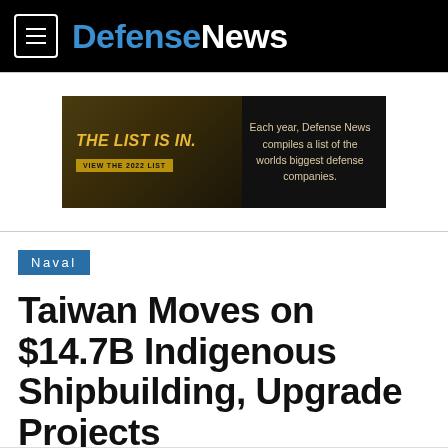DefenseNews
[Figure (infographic): Advertisement banner: 'THE LIST IS IN.' — Each year, Defense News compiles a list of the worlds biggest defense companies. VIEW THE 2022 LIST]
Naval
Taiwan Moves on $14.7B Indigenous Shipbuilding, Upgrade Projects